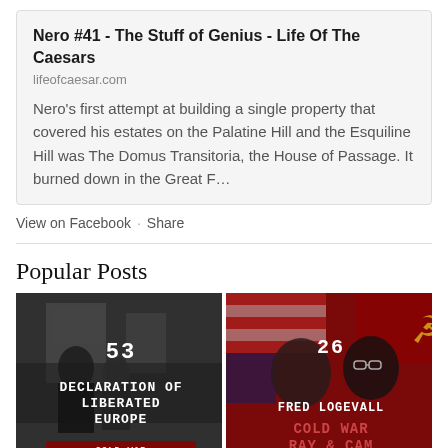[Figure (screenshot): Link card for 'Nero #41 - The Stuff of Genius - Life Of The Caesars' from lifeofcaesar.com with description text about Nero's first attempt at building a single property covering the Palatine Hill and Esquiline Hill, the Domus Transitoria.]
View on Facebook · Share
Popular Posts
[Figure (photo): Black and white photo of men in official dress with overlaid text '53 DECLARATION OF LIBERATED EUROPE' and 'COLD WAR RAY & CAM' logo]
[Figure (photo): Dark red toned image with American flag, Soviet hammer and sickle, two men's portraits, and text '26 FRED LOGEVALL COLD WAR RAY & CAM']